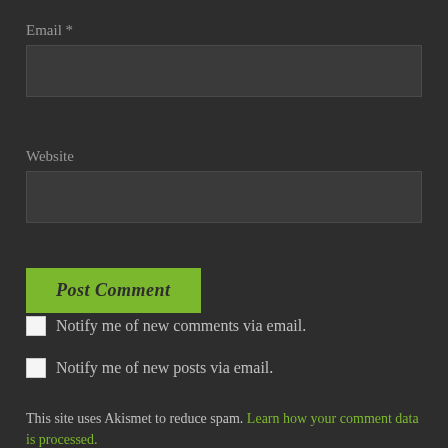Email *
[Figure (other): Email input field (empty text box)]
Website
[Figure (other): Website input field (empty text box)]
Post Comment
Notify me of new comments via email.
Notify me of new posts via email.
This site uses Akismet to reduce spam. Learn how your comment data is processed.